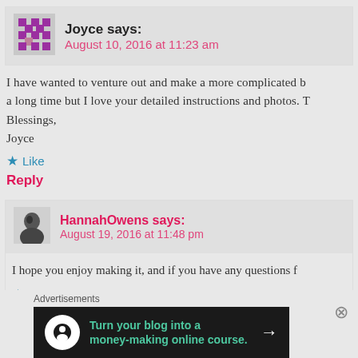Joyce says: August 10, 2016 at 11:23 am
I have wanted to venture out and make a more complicated b a long time but I love your detailed instructions and photos. T Blessings,
Joyce
Like
Reply
HannahOwens says: August 19, 2016 at 11:48 pm
I hope you enjoy making it, and if you have any questions f
Like
Advertisements
[Figure (infographic): Dark banner ad: Turn your blog into a money-making online course. with arrow]